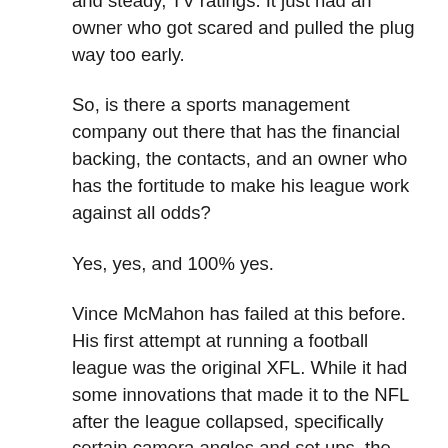and steady, TV ratings. It just had an owner who got scared and pulled the plug way too early.
So, is there a sports management company out there that has the financial backing, the contacts, and an owner who has the fortitude to make his league work against all odds?
Yes, yes, and 100% yes.
Vince McMahon has failed at this before. His first attempt at running a football league was the original XFL. While it had some innovations that made it to the NFL after the league collapsed, specifically certain camera angles and set ups, the league was doomed from the start as being too gimmicky in nature for a football fan and not interesting enough for a wrestling fan.
In 2020, Vince is going to try again. Having seen what he has been able to do with the WWE, turning it into a global monster that has made him a legitimate billionaire, only a fool would